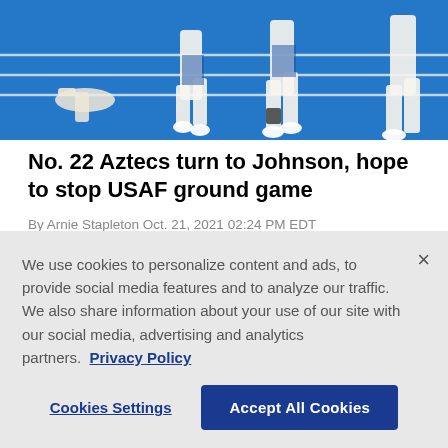[Figure (photo): Football players running on a bright blue artificial turf field, partial view showing legs and feet]
No. 22 Aztecs turn to Johnson, hope to stop USAF ground game
By Arnie Stapleton Oct. 21, 2021 02:24 PM EDT
[Figure (photo): Partially visible sports photo with blurred blue background, obscured by cookie consent overlay]
We use cookies to personalize content and ads, to provide social media features and to analyze our traffic. We also share information about your use of our site with our social media, advertising and analytics partners.  Privacy Policy
Cookies Settings   Accept All Cookies